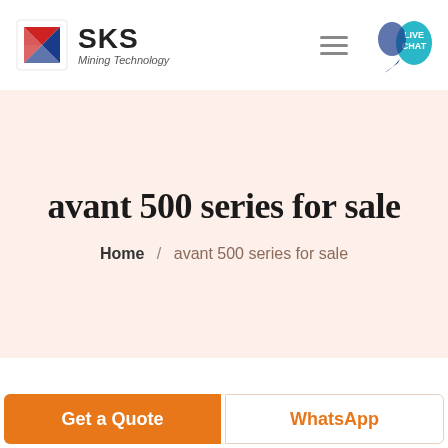[Figure (logo): SKS Mining Technology logo with red and blue angular S icon and brand name]
[Figure (infographic): Live Chat button with teal circular badge and speech bubble icon]
avant 500 series for sale
Home / avant 500 series for sale
[Figure (photo): Partial image strip showing equipment photo at bottom of hero section]
Get a Quote
WhatsApp